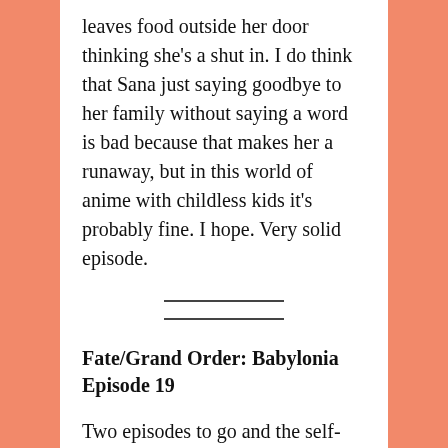leaves food outside her door thinking she's a shut in. I do think that Sana just saying goodbye to her family without saying a word is bad because that makes her a runaway, but in this world of anime with childless kids it's probably fine. I hope. Very solid episode.
Fate/Grand Order: Babylonia Episode 19
Two episodes to go and the self-sacrifices to stop Mother from destroying the rest of human kind are still helping. Each one is just as emotionally crushing as the last one. Tiamat's didn't last very long, but still motivated Fujiwara and Mash still. Same with Gil and Ana and Mia and...